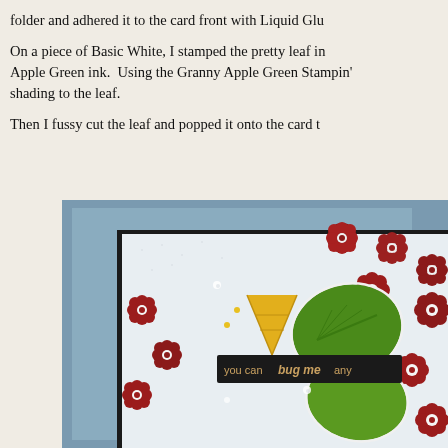folder and adhered it to the card front with Liquid Glu
On a piece of Basic White, I stamped the pretty leaf in Apple Green ink. Using the Granny Apple Green Stampin' shading to the leaf.
Then I fussy cut the leaf and popped it onto the card t
[Figure (photo): A handmade greeting card featuring red flowers (forget-me-nots), green leaves, a yellow cone shape, on a white embossed background with a blue-gray mat. A sentiment banner reads 'you can bug me any'. The card is photographed on a blue-gray surface.]